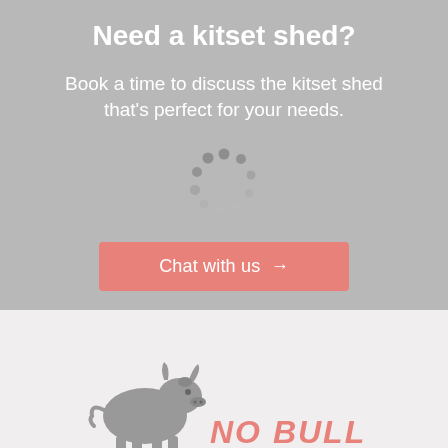Need a kitset shed?
Book a time to discuss the kitset shed that's perfect for your needs.
[Figure (other): Loading spinner graphic composed of multiple small dark grey circles arranged in a circular pattern]
Chat with us →
[Figure (illustration): Grey bull silhouette illustration and red/pink bold italic text reading 'NO BULL' in the bottom section]